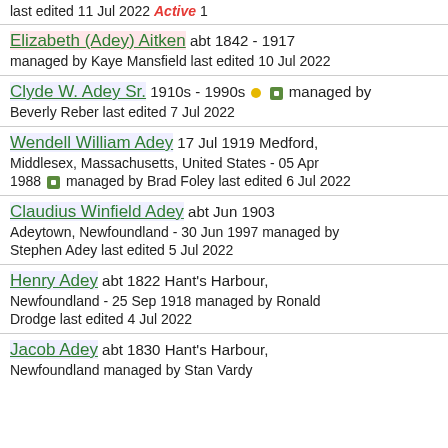last edited 11 Jul 2022 Active 1
Elizabeth (Adey) Aitken abt 1842 - 1917 managed by Kaye Mansfield last edited 10 Jul 2022
Clyde W. Adey Sr. 1910s - 1990s managed by Beverly Reber last edited 7 Jul 2022
Wendell William Adey 17 Jul 1919 Medford, Middlesex, Massachusetts, United States - 05 Apr 1988 managed by Brad Foley last edited 6 Jul 2022
Claudius Winfield Adey abt Jun 1903 Adeytown, Newfoundland - 30 Jun 1997 managed by Stephen Adey last edited 5 Jul 2022
Henry Adey abt 1822 Hant's Harbour, Newfoundland - 25 Sep 1918 managed by Ronald Drodge last edited 4 Jul 2022
Jacob Adey abt 1830 Hant's Harbour, Newfoundland managed by Stan Vardy